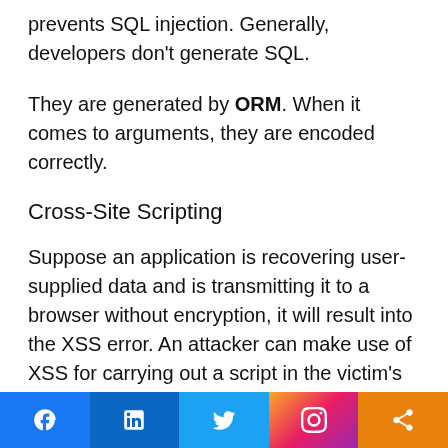prevents SQL injection. Generally, developers don't generate SQL.
They are generated by ORM. When it comes to arguments, they are encoded correctly.
Cross-Site Scripting
Suppose an application is recovering user-supplied data and is transmitting it to a browser without encryption, it will result into the XSS error. An attacker can make use of XSS for carrying out a script in the victim's browser. With this, the hijacker will be able to hijack block the website, the user's